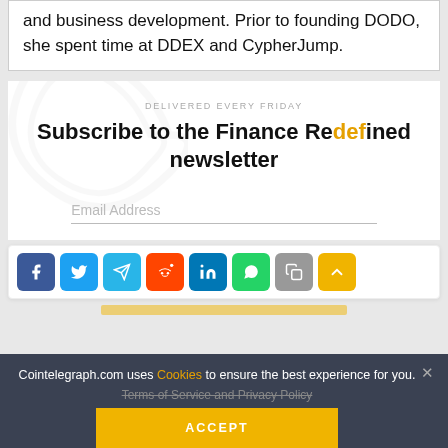and business development. Prior to founding DODO, she spent time at DDEX and CypherJump.
DELIVERED EVERY FRIDAY
Subscribe to the Finance Redefined newsletter
Email Address
[Figure (infographic): Social sharing buttons: Facebook, Twitter, Telegram, Reddit, LinkedIn, WhatsApp, Copy, Scroll-up]
Cointelegraph.com uses Cookies to ensure the best experience for you.
Terms of Service and Privacy Policy
ACCEPT